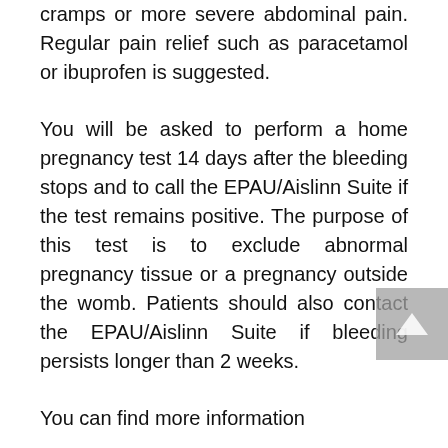cramps or more severe abdominal pain. Regular pain relief such as paracetamol or ibuprofen is suggested.
You will be asked to perform a home pregnancy test 14 days after the bleeding stops and to call the EPAU/Aislinn Suite if the test remains positive. The purpose of this test is to exclude abnormal pregnancy tissue or a pregnancy outside the womb. Patients should also contact the EPAU/Aislinn Suite if bleeding persists longer than 2 weeks.
You can find more information